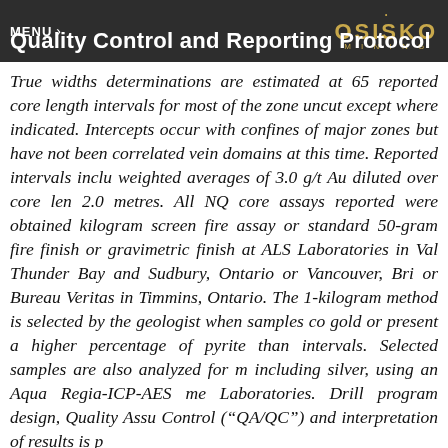MENU  Quality Control and Reporting Protocols  OSISKO MINING
True widths determinations are estimated at 65 reported core length intervals for most of the zone uncut except where indicated. Intercepts occur with confines of major zones but have not been correlated vein domains at this time. Reported intervals inclu weighted averages of 3.0 g/t Au diluted over core len 2.0 metres. All NQ core assays reported were obtained kilogram screen fire assay or standard 50-gram fire finish or gravimetric finish at ALS Laboratories in Val Thunder Bay and Sudbury, Ontario or Vancouver, Bri or Bureau Veritas in Timmins, Ontario. The 1-kilogram method is selected by the geologist when samples co gold or present a higher percentage of pyrite than intervals. Selected samples are also analyzed for m including silver, using an Aqua Regia-ICP-AES me Laboratories. Drill program design, Quality Assu Control (“QA/QC”) and interpretation of results is p